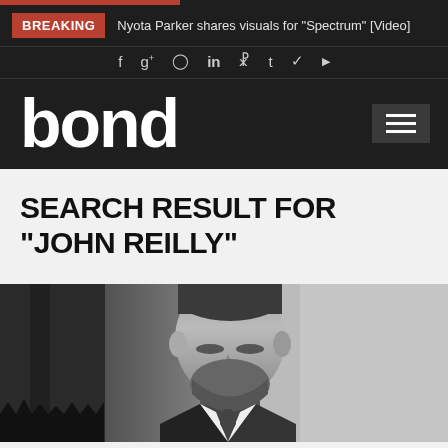BREAKING — Nyota Parker shares visuals for “Spectrum” [Video]
[Figure (logo): Bond magazine logo in white on dark background with hamburger menu icon]
SEARCH RESULT FOR “JOHN REILLY”
[Figure (photo): Black and white portrait photo of a man with dark hair and beard, looking downward, wearing a suit, partially cropped]